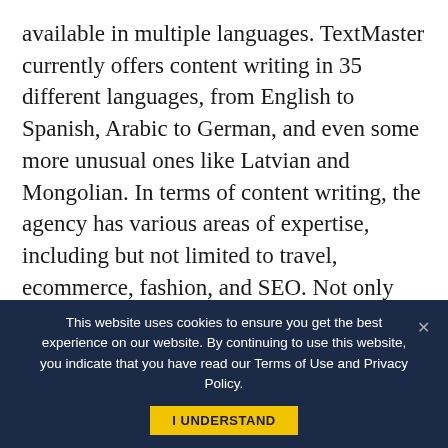available in multiple languages. TextMaster currently offers content writing in 35 different languages, from English to Spanish, Arabic to German, and even some more unusual ones like Latvian and Mongolian. In terms of content writing, the agency has various areas of expertise, including but not limited to travel, ecommerce, fashion, and SEO. Not only can content be ordered through the platform, but TextMaster also integrates with CMS systems like WordPress through its own API. Writers are selected through a rigorous
This website uses cookies to ensure you get the best experience on our website. By continuing to use this website, you indicate that you have read our Terms of Use and Privacy Policy.
I UNDERSTAND